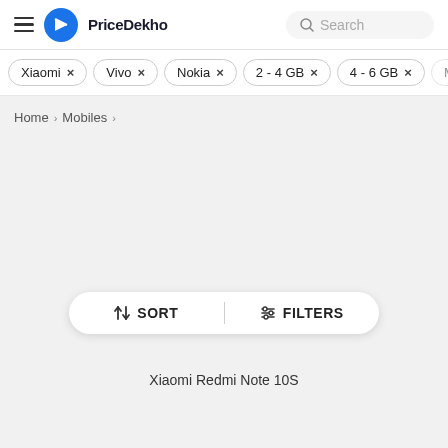PriceDekho
Xiaomi ×
Vivo ×
Nokia ×
2 - 4 GB ×
4 - 6 GB ×
Home > Mobiles >
↓↑ SORT   ⫶ FILTERS
Xiaomi Redmi Note 10S